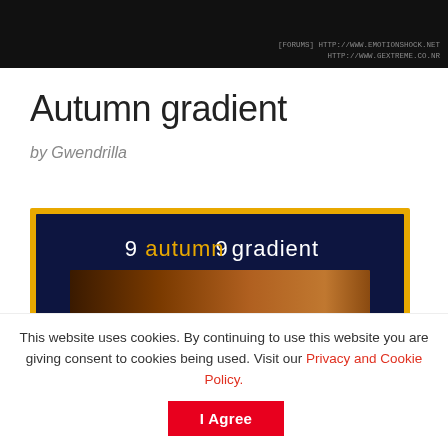[Figure (screenshot): Dark banner with URLs: [FORUMS] HTTP://WWW.EMOTIONSHOCK.NET and HTTP://WWW.GEXTREME.CO.NR]
Autumn gradient
by Gwendrilla
[Figure (illustration): Preview image of 9 autumn gradient GIMP resource showing three gradient swatches on a dark navy background with gold border. Title reads '9 autumn gradient'. Gradients show warm autumn colors: brown/orange, orange/red, and dark red/crimson.]
This website uses cookies. By continuing to use this website you are giving consent to cookies being used. Visit our Privacy and Cookie Policy.